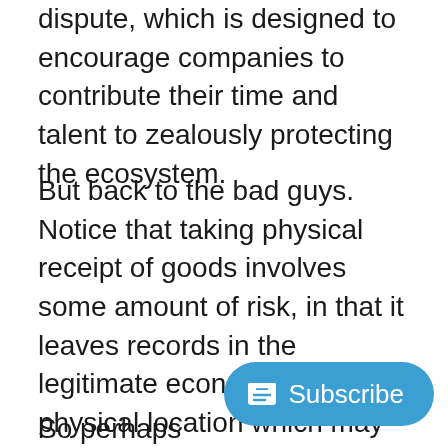dispute, which is designed to encourage companies to contribute their time and talent to zealously protecting the ecosystem.
But back to the bad guys. Notice that taking physical receipt of goods involves some amount of risk, in that it leaves records in the legitimate economy about a physical location which may be tied closely to you personally. If you do this once, you’re abundantly unlikely to come to the attention of law enforcement. But if you make a habit of it, you’re… still, unfortunately, unlikely to come to the attention of law enforcement, but quite likely to come to the attention of fraud departments, which will attemp… down.
So perhaps will be other things, but that could …